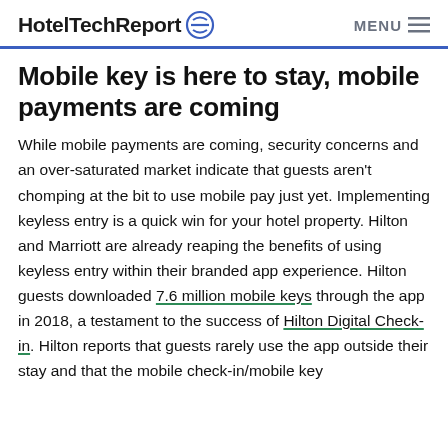HotelTechReport  MENU
Mobile key is here to stay, mobile payments are coming
While mobile payments are coming, security concerns and an over-saturated market indicate that guests aren't chomping at the bit to use mobile pay just yet. Implementing keyless entry is a quick win for your hotel property. Hilton and Marriott are already reaping the benefits of using keyless entry within their branded app experience. Hilton guests downloaded 7.6 million mobile keys through the app in 2018, a testament to the success of Hilton Digital Check-in. Hilton reports that guests rarely use the app outside their stay and that the mobile check-in/mobile key